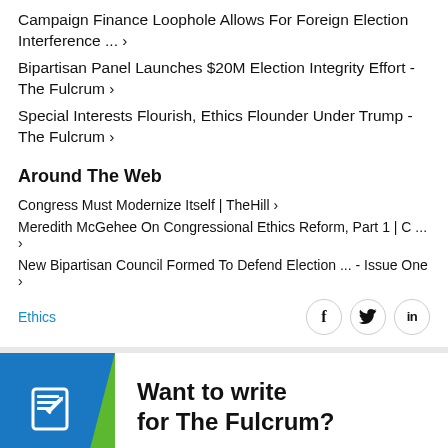Campaign Finance Loophole Allows For Foreign Election Interference ... ›
Bipartisan Panel Launches $20M Election Integrity Effort - The Fulcrum ›
Special Interests Flourish, Ethics Flounder Under Trump - The Fulcrum ›
Around The Web
Congress Must Modernize Itself | TheHill ›
Meredith McGehee On Congressional Ethics Reform, Part 1 | C ... ›
New Bipartisan Council Formed To Defend Election ... - Issue One ›
Ethics
[Figure (infographic): Social sharing icons: Facebook (f), Twitter (bird/y), LinkedIn (in) in circular bordered buttons]
[Figure (infographic): The Fulcrum call-to-action banner: blue background with green chevron accent, document/edit icon, text 'Want to write for The Fulcrum?']